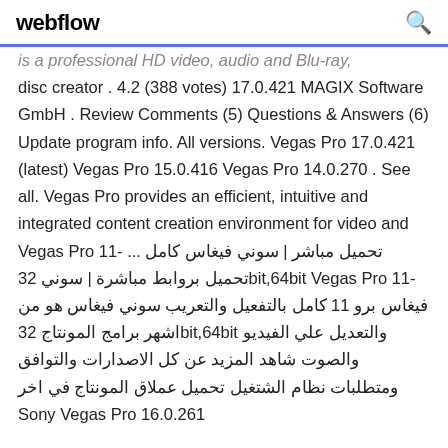webflow
is a professional HD video, audio and Blu-ray disc creator . 4.2 (388 votes) 17.0.421 MAGIX Software GmbH . Review Comments (5) Questions & Answers (6) Update program info. All versions. Vegas Pro 17.0.421 (latest) Vegas Pro 15.0.416 Vegas Pro 14.0.270 . See all. Vegas Pro provides an efficient, intuitive and integrated content creation environment for video and Vegas Pro 11- تحميل مباشر | سوني فيغاس كامل ... تحميل بروابط مباشرة | سوني 32bit,64bit Vegas Pro 11- فيغاس برو 11 كامل بالتفعيل والتعريب سوني فيغاس هو من اشهر برامج المونتاج 32bit,64bit والتعديل علي الفيديو والصوت شاهد المزيد عن كل الاصدارات والتوافق ومتطلبات نظام الشتغيل تحميل عملاق المونتاج في اخر Sony Vegas Pro 16.0.261